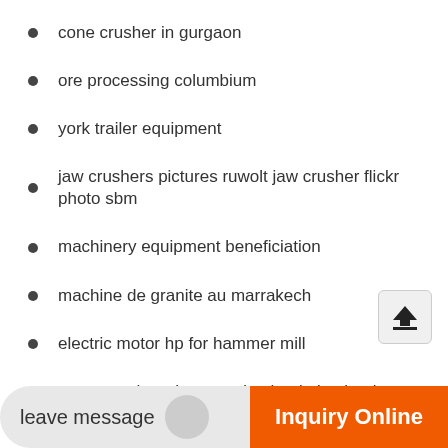cone crusher in gurgaon
ore processing columbium
york trailer equipment
jaw crushers pictures ruwolt jaw crusher flickr photo sbm
machinery equipment beneficiation
machine de granite au marrakech
electric motor hp for hammer mill
stone crusher plant cost in nigeria in nigeria